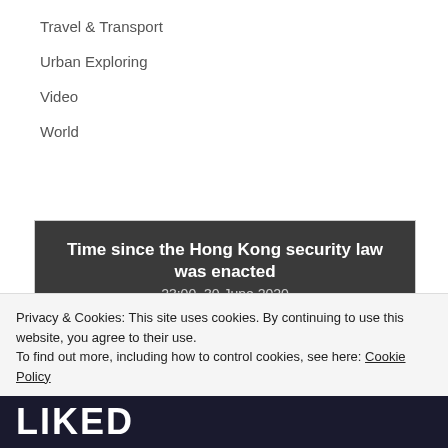Travel & Transport
Urban Exploring
Video
World
Time since the Hong Kong security law was enacted
23:00, 30 June 2020
2.1
Privacy & Cookies: This site uses cookies. By continuing to use this website, you agree to their use.
To find out more, including how to control cookies, see here: Cookie Policy
Close and accept
LIKED